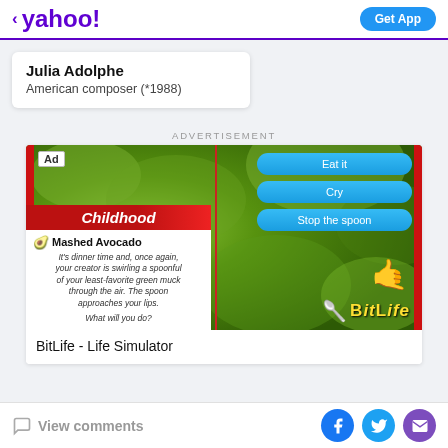< yahoo! | Get App
Julia Adolphe
American composer (*1988)
ADVERTISEMENT
[Figure (screenshot): BitLife - Life Simulator advertisement screenshot showing a game UI with a 'Childhood' scenario about Mashed Avocado, with blue choice buttons: 'Eat it', 'Cry', 'Stop the spoon', and a hand cursor icon on a green leafy background.]
BitLife - Life Simulator
View comments
View comments | Facebook | Twitter | Mail